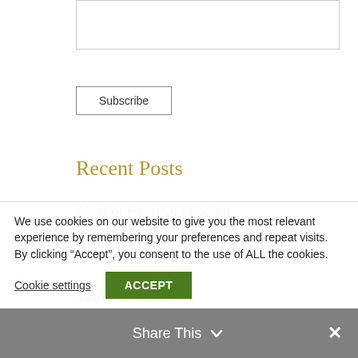[input box]
Subscribe
Recent Posts
Another Pearl Of Wisdom
On The Face Of It
Jasper and Jade
Post lockdown update
The Star Of The Show
We use cookies on our website to give you the most relevant experience by remembering your preferences and repeat visits. By clicking “Accept”, you consent to the use of ALL the cookies.
Cookie settings
ACCEPT
Share This